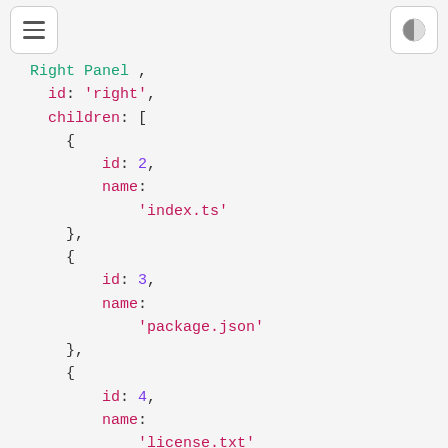[Figure (screenshot): Top navigation bar with hamburger menu button on the left and a half-moon/theme toggle button on the right]
Right Panel ,
  id: 'right',
  children: [
    {
      id: 2,
      name:
        'index.ts'
    },
    {
      id: 3,
      name:
        'package.json'
    },
    {
      id: 4,
      name:
        'license.txt'